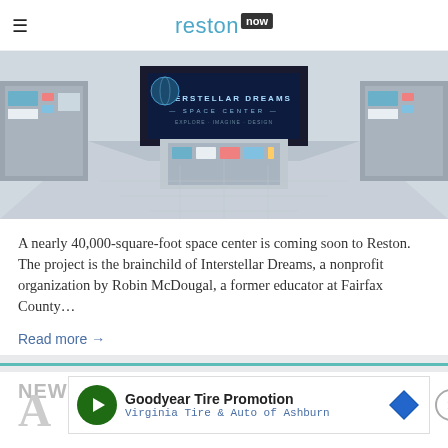reston now
[Figure (photo): Interior of a futuristic space center exhibit called 'Interstellar Dreams Space Center' with control panels and a large display screen]
A nearly 40,000-square-foot space center is coming soon to Reston. The project is the brainchild of Interstellar Dreams, a nonprofit organization by Robin McDougal, a former educator at Fairfax County…
Read more →
[Figure (other): Goodyear Tire Promotion advertisement banner — Virginia Tire & Auto of Ashburn]